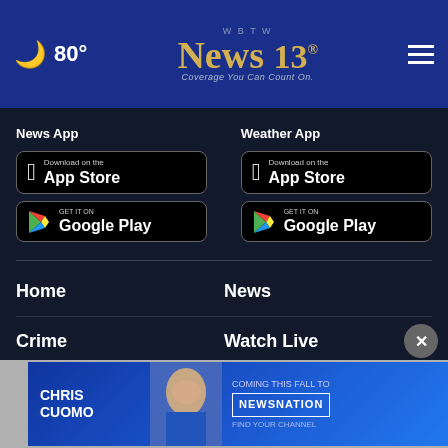80° WBTW News 13 Coverage You Can Count On.
News App
[Figure (screenshot): Download on the App Store button (black)]
[Figure (screenshot): GET IT ON Google Play button (black)]
Weather App
[Figure (screenshot): Download on the App Store button (black)]
[Figure (screenshot): GET IT ON Google Play button (black)]
Home
News
Crime
Watch Live
Sports
Video
TV Sch
[Figure (screenshot): Chris Cuomo Coming This Fall to NewsNation advertisement banner]